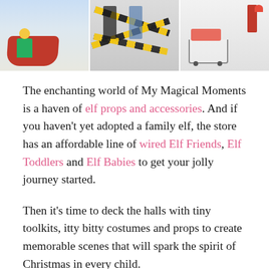[Figure (photo): Three photos side by side: (1) an elf figure in a red sleigh in a snowy scene, (2) two children standing amid yellow and black caution tape crossed on the ground, (3) a person in elf costume with a small shopping cart and gifts.]
The enchanting world of My Magical Moments is a haven of elf props and accessories. And if you haven't yet adopted a family elf, the store has an affordable line of wired Elf Friends, Elf Toddlers and Elf Babies to get your jolly journey started.
Then it's time to deck the halls with tiny toolkits, itty bitty costumes and props to create memorable scenes that will spark the spirit of Christmas in every child.